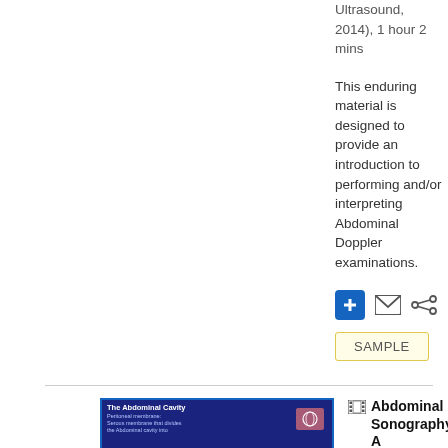Ultrasound, 2014), 1 hour 2 mins
This enduring material is designed to provide an introduction to performing and/or interpreting Abdominal Doppler examinations.
[Figure (screenshot): Three icon buttons: blue plus button, envelope icon, share icon]
SAMPLE
[Figure (screenshot): Thumbnail image of a presentation slide titled 'The Abdominal Cavity' with text about Peritoneal membrane and an ultrasound image overlay]
Abdominal Sonography A...